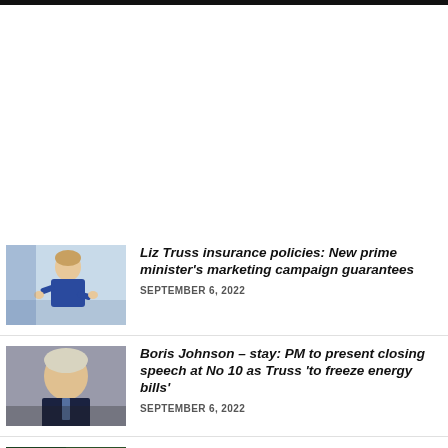[Figure (photo): Liz Truss in blue jacket gesturing at a podium]
Liz Truss insurance policies: New prime minister's marketing campaign guarantees
SEPTEMBER 6, 2022
[Figure (photo): Boris Johnson looking down, wearing suit]
Boris Johnson – stay: PM to present closing speech at No 10 as Truss 'to freeze energy bills'
SEPTEMBER 6, 2022
[Figure (photo): Celtic and Rangers football players on pitch]
Celtic and Rangers set to supply sorely wanted...